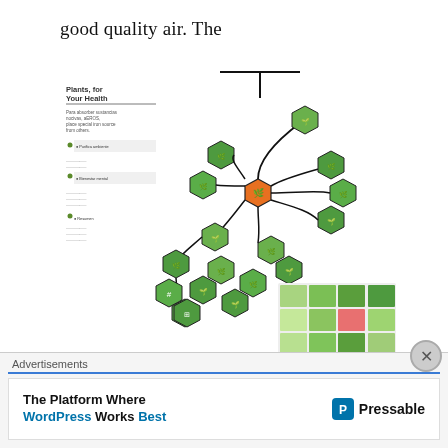good quality air. The
[Figure (infographic): NASA's Plants for Your Health infographic showing a tree-like network of hexagonal icons representing various plants, connected by curving lines, with a grid of plant photos on the right side. Includes a sidebar with text about plant health benefits.]
Picture credit NASA's Plants, for your Health study.
furnishings, upholstery, building materials, cleaning products and various machines can emit a variety of toxic